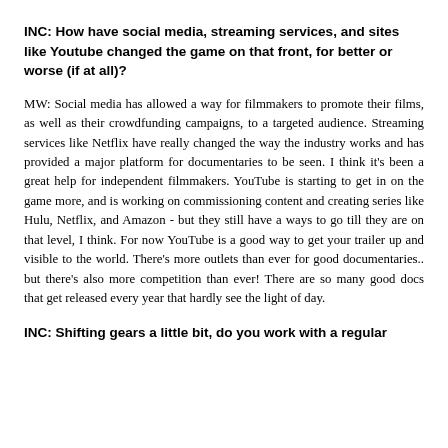INC: How have social media, streaming services, and sites like Youtube changed the game on that front, for better or worse (if at all)?
MW: Social media has allowed a way for filmmakers to promote their films, as well as their crowdfunding campaigns, to a targeted audience. Streaming services like Netflix have really changed the way the industry works and has provided a major platform for documentaries to be seen. I think it's been a great help for independent filmmakers. YouTube is starting to get in on the game more, and is working on commissioning content and creating series like Hulu, Netflix, and Amazon - but they still have a ways to go till they are on that level, I think. For now YouTube is a good way to get your trailer up and visible to the world. There's more outlets than ever for good documentaries.. but there's also more competition than ever! There are so many good docs that get released every year that hardly see the light of day.
INC: Shifting gears a little bit, do you work with a regular